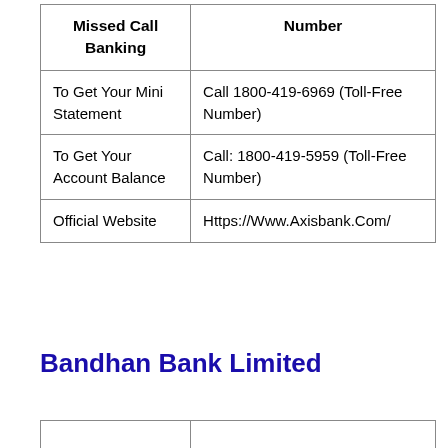| Missed Call Banking | Number |
| --- | --- |
| To Get Your Mini Statement | Call 1800-419-6969 (Toll-Free Number) |
| To Get Your Account Balance | Call: 1800-419-5959 (Toll-Free Number) |
| Official Website | Https://Www.Axisbank.Com/ |
Bandhan Bank Limited
|  |  |